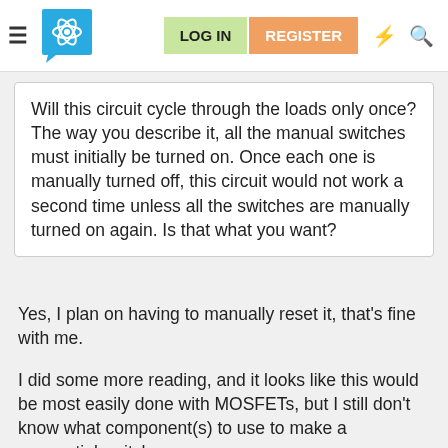LOG IN | REGISTER
Will this circuit cycle through the loads only once? The way you describe it, all the manual switches must initially be turned on. Once each one is manually turned off, this circuit would not work a second time unless all the switches are manually turned on again. Is that what you want?
Yes, I plan on having to manually reset it, that's fine with me.
I did some more reading, and it looks like this would be most easily done with MOSFETs, but I still don't know what component(s) to use to make a sequential switch.